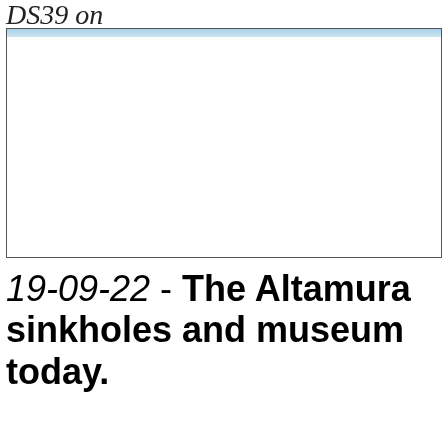DS39 on
[Figure (photo): A blank/white image placeholder with a light blue top bar and thin border.]
19-09-22 - The Altamura sinkholes and museum today.